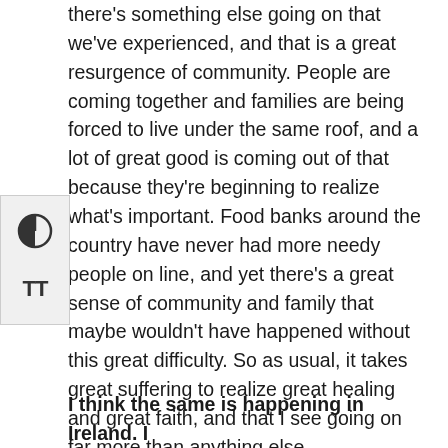there's something else going on that we've experienced, and that is a great resurgence of community. People are coming together and families are being forced to live under the same roof, and a lot of great good is coming out of that because they're beginning to realize what's important. Food banks around the country have never had more needy people on line, and yet there's a great sense of community and family that maybe wouldn't have happened without this great difficulty. So as usual, it takes great suffering to realize great healing and great faith, and that I see going on far more than anything else.
I think the same is happening in Ireland. I